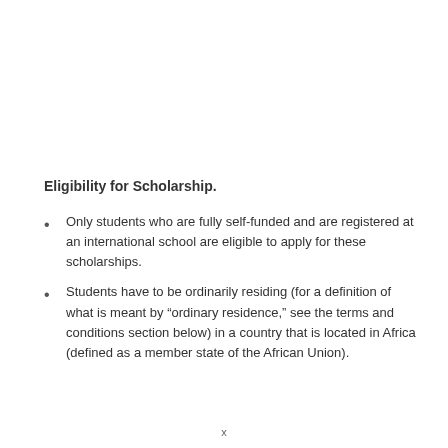Eligibility for Scholarship.
Only students who are fully self-funded and are registered at an international school are eligible to apply for these scholarships.
Students have to be ordinarily residing (for a definition of what is meant by “ordinary residence,” see the terms and conditions section below) in a country that is located in Africa (defined as a member state of the African Union).
x